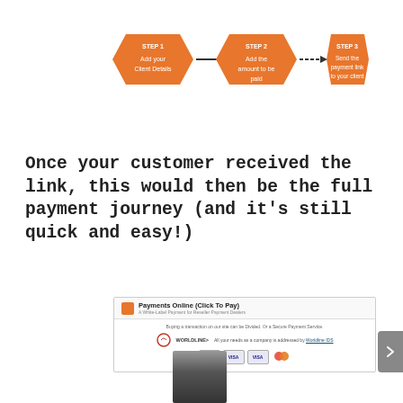[Figure (flowchart): Three-step flowchart with orange hexagonal/chevron shapes connected by arrows. Step 1: Add your Client Details. Step 2: Add the amount to be paid. Step 3: Send the payment link to your client.]
Once your customer received the link, this would then be the full payment journey (and it's still quick and easy!)
[Figure (screenshot): Screenshot of Payments Online (Click To Pay) interface showing Worldpay payment options with VISA and Mastercard logos.]
[Figure (photo): Blurred bottom portion of a screenshot or image, partially visible at the bottom of the page.]